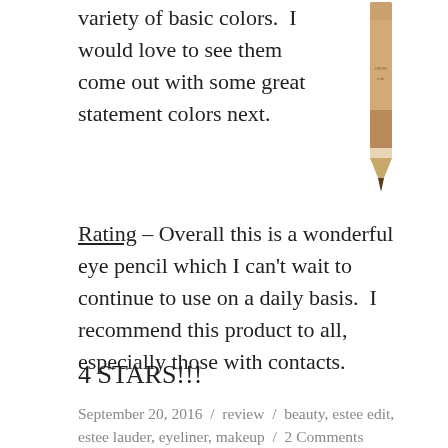variety of basic colors.  I would love to see them come out with some great statement colors next.
[Figure (photo): A brown eyeliner pencil shown vertically with the tip pointing downward.]
Rating – Overall this is a wonderful eye pencil which I can't wait to continue to use on a daily basis.  I recommend this product to all, especially those with contacts.
4 STARS!!!
September 20, 2016  /  review  /  beauty, estee edit, estee lauder, eyeliner, makeup  /  2 Comments